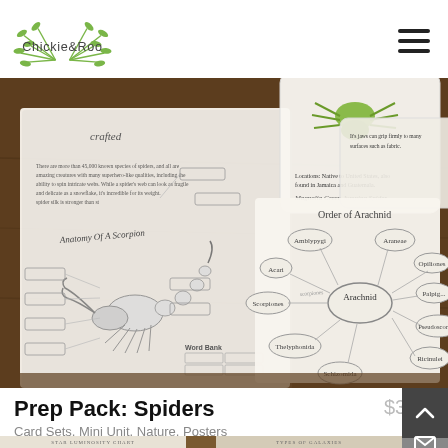Chickie&Roo
[Figure (photo): Educational materials laid on a wooden table: an open book showing 'Anatomy of A Scorpion' diagram with labeled boxes, flashcards with a green spider image, and a worksheet showing 'Order of Arachnid' mind map with Arachnid at center connected to: Amblypygi, Araneae, Opiliones, Acari, Solifugae, Scorpiones, Thelyphonida, Schizomida, Ricinulei, Pseudoscorpiones. The Chickie&Roo logo and text 'crafted' are visible.]
Prep Pack: Spiders
$3.00
Card Sets, Mini Unit, Nature, Posters
Star Luminosity Chart
Types of Galaxies